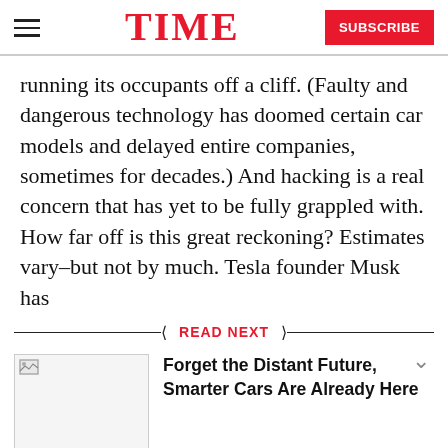TIME | SUBSCRIBE
running its occupants off a cliff. (Faulty and dangerous technology has doomed certain car models and delayed entire companies, sometimes for decades.) And hacking is a real concern that has yet to be fully grappled with.

How far off is this great reckoning? Estimates vary–but not by much. Tesla founder Musk has
READ NEXT
Forget the Distant Future, Smarter Cars Are Already Here